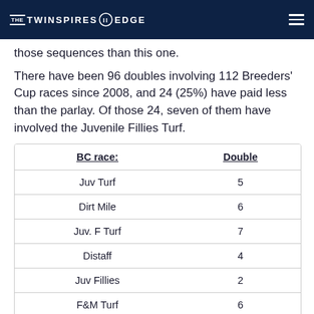THE TWINSPIRES EDGE
those sequences than this one.
There have been 96 doubles involving 112 Breeders' Cup races since 2008, and 24 (25%) have paid less than the parlay. Of those 24, seven of them have involved the Juvenile Fillies Turf.
| BC race: | Double |
| --- | --- |
| Juv Turf | 5 |
| Dirt Mile | 6 |
| Juv. F Turf | 7 |
| Distaff | 4 |
| Juv Fillies | 2 |
| F&M Turf | 6 |